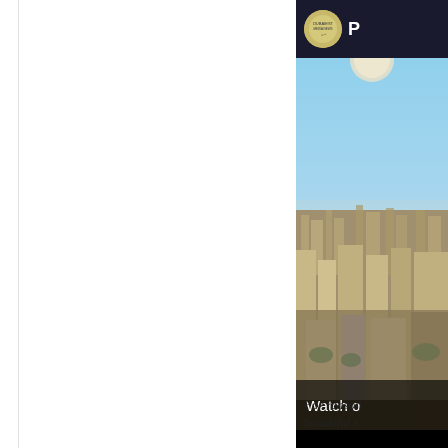[Figure (screenshot): Partial screenshot of a video thumbnail showing a city aerial view with a channel logo at top and 'Watch o' text overlay at bottom]
For reason beautiful r